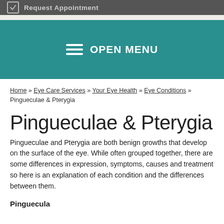Request Appointment
[Figure (screenshot): Teal navigation bar with hamburger menu icon and OPEN MENU text]
Home » Eye Care Services » Your Eye Health » Eye Conditions » Pingueculae & Pterygia
Pingueculae & Pterygia
Pingueculae and Pterygia are both benign growths that develop on the surface of the eye. While often grouped together, there are some differences in expression, symptoms, causes and treatment so here is an explanation of each condition and the differences between them.
Pinguecula